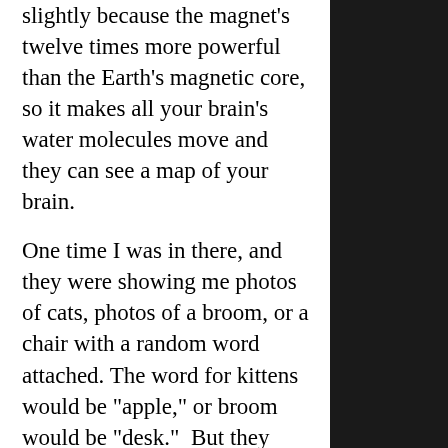slightly because the magnet's twelve times more powerful than the Earth's magnetic core, so it makes all your brain's water molecules move and they can see a map of your brain.
One time I was in there, and they were showing me photos of cats, photos of a broom, or a chair with a random word attached. The word for kittens would be "apple," or broom would be "desk." But they also had super-brutal murder pictures in there as well, like a woman dead on the side of the road, and then that